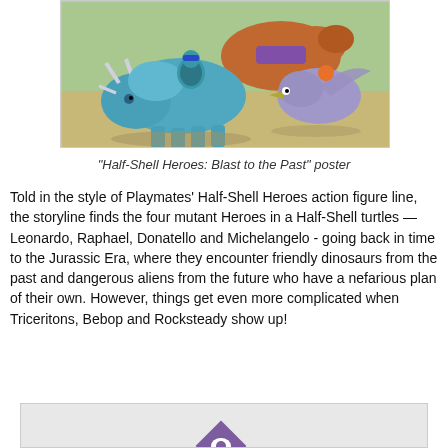[Figure (illustration): Promotional poster for 'Half-Shell Heroes: Blast to the Past' showing animated TMNT characters (Leonardo and another turtle) riding dinosaurs including a blue triceratops and a purple pterosaur/raptor-like creature, against a sandy/rocky background.]
"Half-Shell Heroes: Blast to the Past" poster
Told in the style of Playmates' Half-Shell Heroes action figure line, the storyline finds the four mutant Heroes in a Half-Shell turtles — Leonardo, Raphael, Donatello and Michelangelo - going back in time to the Jurassic Era, where they encounter friendly dinosaurs from the past and dangerous aliens from the future who have a nefarious plan of their own. However, things get even more complicated when Triceritons, Bebop and Rocksteady show up!
[Figure (illustration): Partial view of another image at the bottom of the page, showing what appears to be a diamond/eye logo shape in purple and white on a light background.]